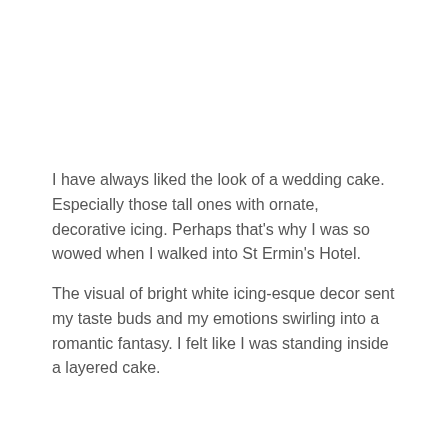I have always liked the look of a wedding cake. Especially those tall ones with ornate, decorative icing. Perhaps that's why I was so wowed when I walked into St Ermin's Hotel.
The visual of bright white icing-esque decor sent my taste buds and my emotions swirling into a romantic fantasy. I felt like I was standing inside a layered cake.